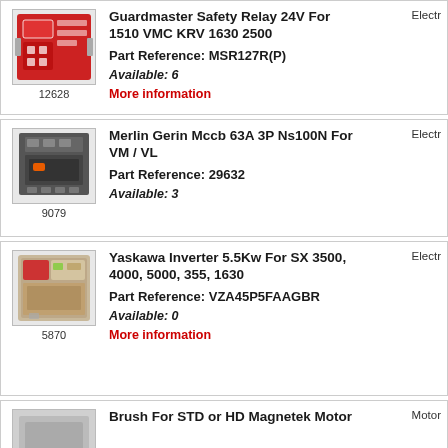[Figure (photo): Red Guardmaster Safety Relay device, product image, item 12628]
Guardmaster Safety Relay 24V For 1510 VMC KRV 1630 2500
Part Reference: MSR127R(P)
Available: 6
More information
Electr
[Figure (photo): Merlin Gerin MCCB 63A 3P NS100N circuit breaker, product image, item 9079]
Merlin Gerin Mccb 63A 3P Ns100N For VM / VL
Part Reference: 29632
Available: 3
Electr
[Figure (photo): Yaskawa inverter 5.5Kw beige/tan unit, product image, item 5870]
Yaskawa Inverter 5.5Kw For SX 3500, 4000, 5000, 355, 1630
Part Reference: VZA45P5FAAGBR
Available: 0
More information
Electr
[Figure (photo): Brush for STD or HD Magnetek Motor, product image, partial view]
Brush For STD or HD Magnetek Motor
Motor